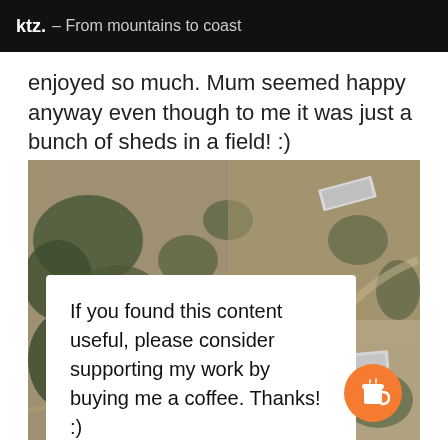ktz. – From mountains to coast
enjoyed so much. Mum seemed happy anyway even though to me it was just a bunch of sheds in a field! :)
[Figure (photo): Aerial drone photograph looking down at a rural landscape with sparse trees and several metal-roofed sheds or farm buildings scattered across dry terrain. An overlay card reads: If you found this content useful, please consider supporting my work by buying me a coffee. Thanks! :) with a coffee cup icon button in orange.]